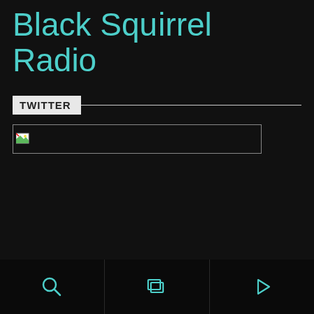Black Squirrel Radio
TWITTER
[Figure (screenshot): A broken image placeholder box with a small broken image icon in the top-left corner, set against a dark background]
[Figure (other): Bottom navigation bar with three icons: a search/magnifying glass icon, a layers/stack icon, and a play button icon, all in teal/cyan color on a dark background, separated by vertical dividers]